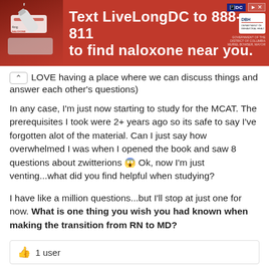[Figure (screenshot): Advertisement banner with red background: 'Text LiveLongDC to 888-811 to find naloxone near you.' with DC and DBH logos and a photo of a naloxone kit.]
LOVE having a place where we can discuss things and answer each other's questions)
In any case, I'm just now starting to study for the MCAT. The prerequisites I took were 2+ years ago so its safe to say I've forgotten alot of the material. Can I just say how overwhelmed I was when I opened the book and saw 8 questions about zwitterions 😱 Ok, now I'm just venting...what did you find helpful when studying?

I have like a million questions...but I'll stop at just one for now. What is one thing you wish you had known when making the transition from RN to MD?
1 user
Members don't see this ad :)